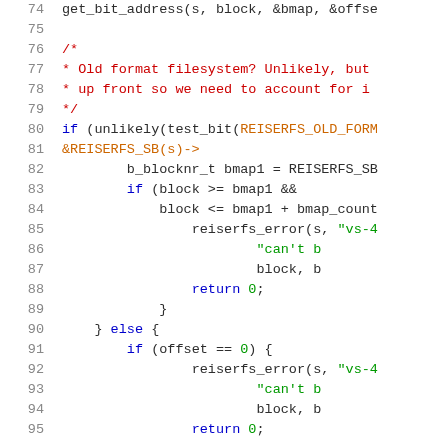[Figure (screenshot): Source code listing showing C code for a filesystem function, lines 74-95, with syntax highlighting. Line numbers in gray on left, keywords in blue, strings in green, comments in red, macros in orange/dark-yellow, type names in purple.]